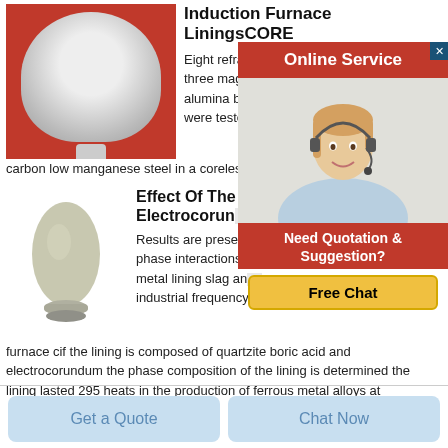[Figure (photo): White/grey spherical mineral powder specimen in a glass bowl on red background]
Induction Furnace LiningsCORE
Eight refractory linings one pure magnesia three magnesia base spinel forming and four alumina base spinel mixes were tested f carbon low manganese steel in a coreless induction fu
[Figure (photo): Online Service popup with female agent wearing headset, red header, Need Quotation & Suggestion text, Free Chat button]
[Figure (photo): Grey egg-shaped mineral specimen on small base]
Effect Of The Electrocorun
Results are presen phase interactions t metal lining slag an industrial frequency furnace cif the lining is composed of quartzite boric acid and electrocorundum the phase composition of the lining is determined the lining lasted 295 heats in the production of ferrous metal alloys at
Get a Quote
Chat Now